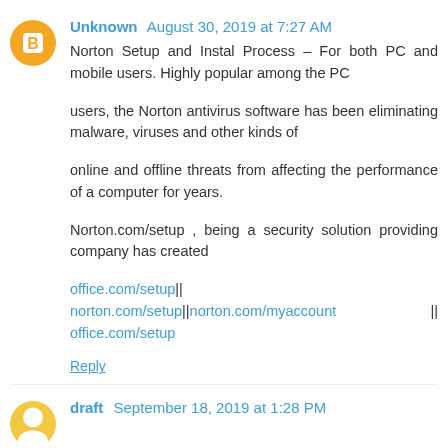[Figure (illustration): Orange circular avatar with white blogger 'B' icon]
Unknown  August 30, 2019 at 7:27 AM
Norton Setup and Instal Process – For both PC and mobile users. Highly popular among the PC

users, the Norton antivirus software has been eliminating malware, viruses and other kinds of

online and offline threats from affecting the performance of a computer for years.

Norton.com/setup , being a security solution providing company has created

office.com/setup|| norton.com/setup||norton.com/myaccount || office.com/setup
Reply
[Figure (illustration): Yellow circular avatar for draft user]
draft  September 18, 2019 at 1:28 PM